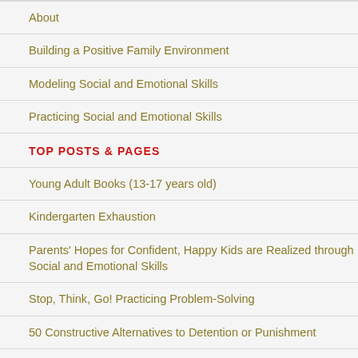About
Building a Positive Family Environment
Modeling Social and Emotional Skills
Practicing Social and Emotional Skills
TOP POSTS & PAGES
Young Adult Books (13-17 years old)
Kindergarten Exhaustion
Parents' Hopes for Confident, Happy Kids are Realized through Social and Emotional Skills
Stop, Think, Go! Practicing Problem-Solving
50 Constructive Alternatives to Detention or Punishment
Family-School Partnerships
Preparing Children to Stand Up for Themselves and...